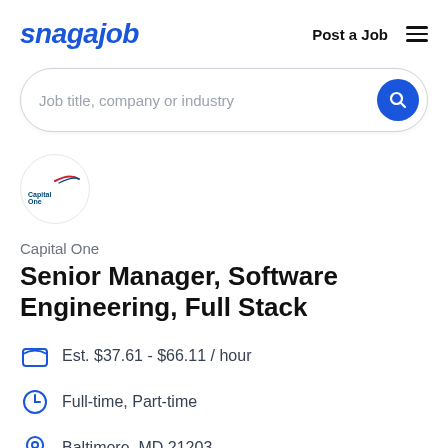snagajob — Post a Job
Job title, company or industry
[Figure (logo): Capital One company logo in a circle]
Capital One
Senior Manager, Software Engineering, Full Stack
Est. $37.61 - $66.11 / hour
Full-time, Part-time
Baltimore, MD 21203